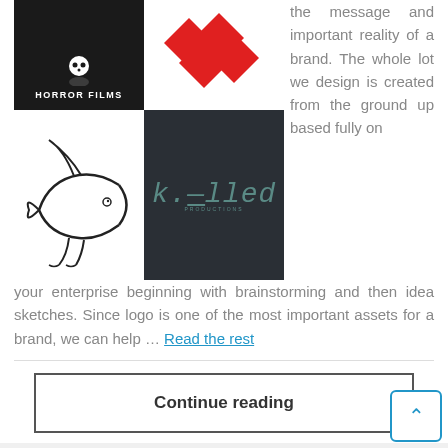[Figure (logo): Horror Films logo on dark background with icon and text 'HORROR FILMS']
[Figure (logo): Red playing card suits / play button logo]
[Figure (logo): Hand-drawn fish sketch logo]
[Figure (logo): k.lled productions logo on dark teal background]
the message and important reality of a brand. The whole lot we design is created from the ground up based fully on your enterprise beginning with brainstorming and then idea sketches. Since logo is one of the most important assets for a brand, we can help … Read the rest
Continue reading